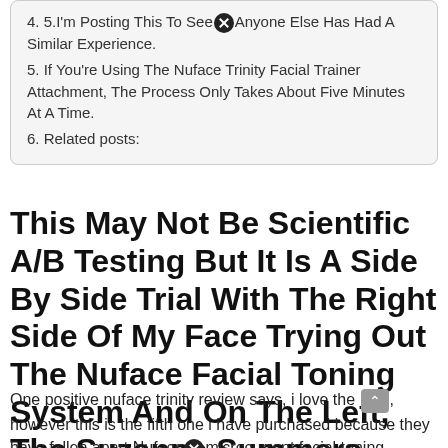4. 5.I'm Posting This To See [X] Anyone Else Has Had A Similar Experience.
5. If You're Using The Nuface Trinity Facial Trainer Attachment, The Process Only Takes About Five Minutes At A Time.
6. Related posts:
This May Not Be Scientific A/B Testing But It Is A Side By Side Trial With The Right Side Of My Face Trying Out The Nuface Facial Toning System And On The Left, The Suzanne Summers Facemaster.
One positive nuface trinity review says, i love the device, however this is the fifth one i have purchased because they have fallen apart Nuface microcurrent facial toning